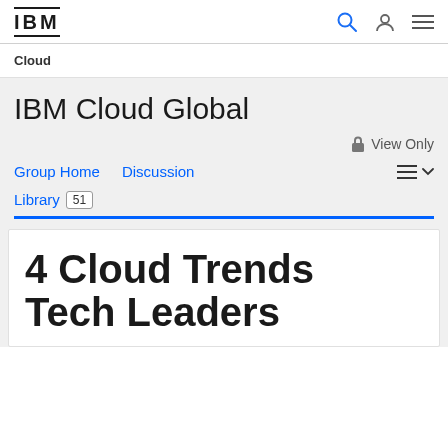IBM Cloud Global - IBM
Cloud
IBM Cloud Global
View Only
Group Home  Discussion  Library 51
4 Cloud Trends Tech Leaders